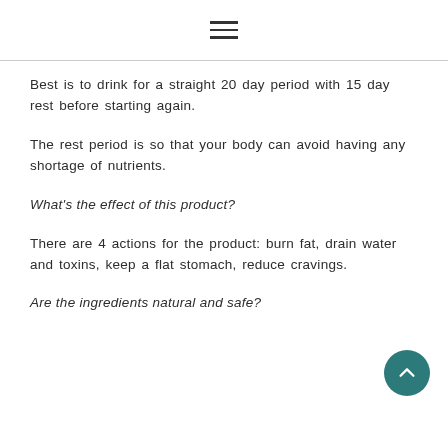≡
Best is to drink for a straight 20 day period with 15 day rest before starting again.
The rest period is so that your body can avoid having any shortage of nutrients.
What's the effect of this product?
There are 4 actions for the product: burn fat, drain water and toxins, keep a flat stomach, reduce cravings.
Are the ingredients natural and safe?